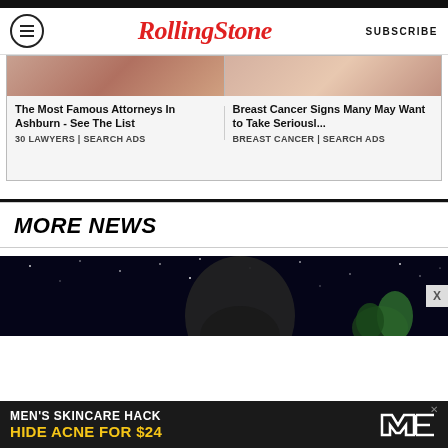Rolling Stone | SUBSCRIBE
[Figure (screenshot): Advertisement box with two sponsored items: 'The Most Famous Attorneys In Ashburn - See The List' from 30 LAWYERS | SEARCH ADS, and 'Breast Cancer Signs Many May Want to Take Seriousl...' from BREAST CANCER | SEARCH ADS]
MORE NEWS
[Figure (photo): Dark nighttime photo with stars and a shadowy figure, with a green plant visible at the right, and an X close button on the right side]
[Figure (screenshot): Bottom advertisement: MEN'S SKINCARE HACK - HIDE ACNE FOR $24, with SPY logo]